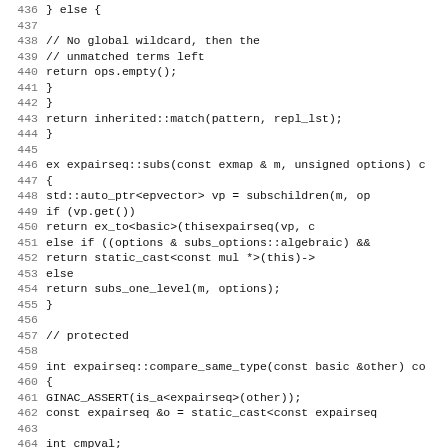Source code listing, lines 436-467, C++ code for expairseq class methods including match, subs, and compare_same_type functions.